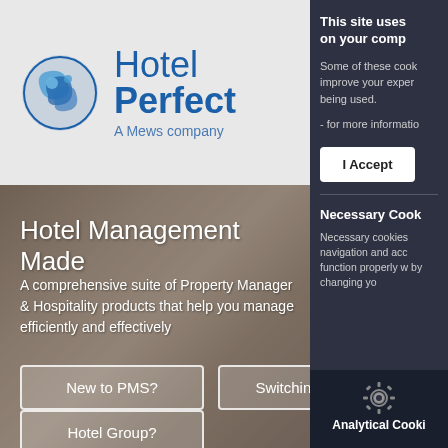[Figure (logo): Hotel Perfect - A Mews company logo with blue circular icon]
Hotel Management Made
A comprehensive suite of Property Manager & Hospitality products that help you manage efficiently and effectively
New to PMS?
Switching PMS?
Hotel Group?
This site uses on your comp
Some of these cook improve your exper being used.
- for more informatio
I Accept
Necessary Cook
Necessary cookies navigation and acc function properly w by changing yo
Analytical Cooki